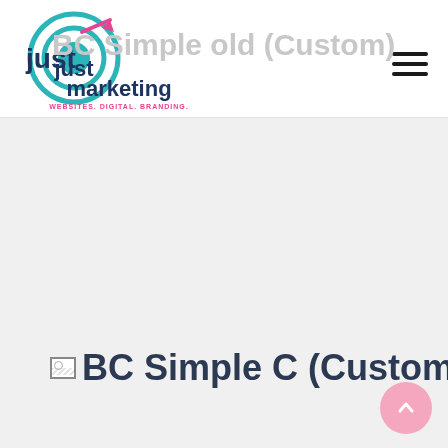[Figure (logo): Just Marketing logo: circular teal/blue target icon with arrow, text 'just marketing' in dark blue, tagline 'WEBSITES. DIGITAL. BRANDING.' in pink]
BC Simple old (Custom)
[Figure (illustration): Broken image placeholder icon followed by text 'BC Simple C (Custom)' in bold dark blue on grey background]
[Figure (other): Pink circular back-to-top button with upward chevron arrow, bottom-right corner]